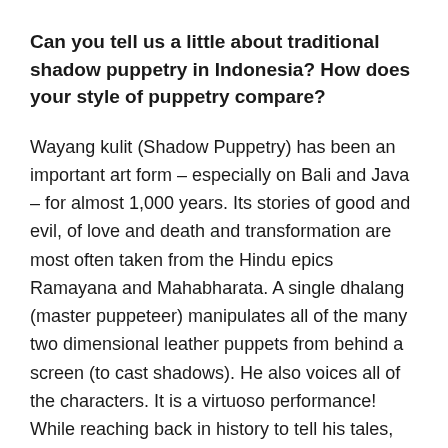Can you tell us a little about traditional shadow puppetry in Indonesia? How does your style of puppetry compare?
Wayang kulit (Shadow Puppetry) has been an important art form – especially on Bali and Java – for almost 1,000 years. Its stories of good and evil, of love and death and transformation are most often taken from the Hindu epics Ramayana and Mahabharata. A single dhalang (master puppeteer) manipulates all of the many two dimensional leather puppets from behind a screen (to cast shadows). He also voices all of the characters. It is a virtuoso performance! While reaching back in history to tell his tales, the master puppeteer always makes reference to current happenings. Traditional puppet theater has played an important role in communicating values to